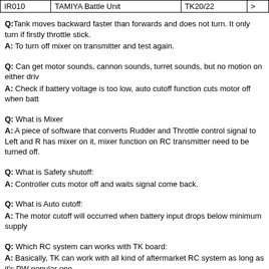| IR010 | TAMIYA Battle Unit | TK20/22 | > |
| --- | --- | --- | --- |
Q:Tank moves backward faster than forwards and does not turn. It only turn if firstly throttle stick.
A: To turn off mixer on transmitter and test again.
Q: Can get motor sounds, cannon sounds, turret sounds, but no motion on either drive motor
A: Check if battery voltage is too low, auto cutoff function cuts motor off when battery is too low.
Q: What is Mixer
A: A piece of software that converts Rudder and Throttle control signal to Left and Right motor. TK has mixer on it, mixer function on RC transmitter need to be turned off.
Q: What is Safety shutoff:
A: Controller cuts motor off and waits signal come back.
Q: What is Auto cutoff:
A: The motor cutoff will occurred when battery input drops below minimum supply voltage.
Q: Which RC system can works with TK board:
A: Basically, TK can work with all kind of aftermarket RC system as long as it's PWM. Here is some popular one.
| Brand | Band | Model Number |  |
| --- | --- | --- | --- |
| Futaba | 72M | T4VF |  |
| Futaba | 27M AM | 4WD |  |
| Futaba | 2.4G | T4YF-2.4G |  |
| TURNIGY | 2.4G | 9X |  |